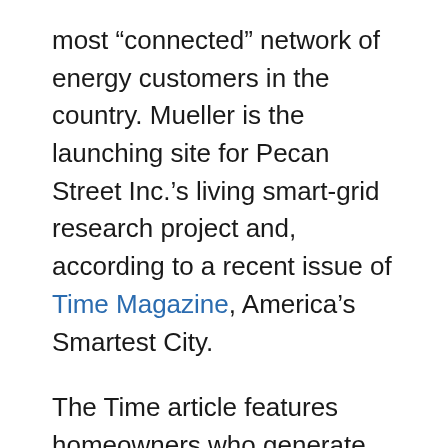most “connected” network of energy customers in the country. Mueller is the launching site for Pecan Street Inc.’s living smart-grid research project and, according to a recent issue of Time Magazine, America’s Smartest City.
The Time article features homeowners who generate and make money on their solar panels, while enjoying access to minute-by-minute energy use data. It shows their sense of stewardship and empowerment.
The story does a good job summarizing the mission of Pecan Street, of which Environmental Defense Fund is a founding